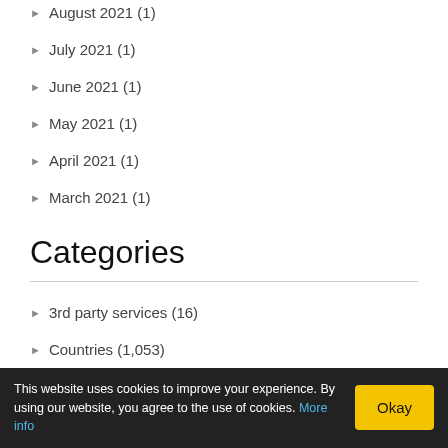August 2021 (1)
July 2021 (1)
June 2021 (1)
May 2021 (1)
April 2021 (1)
March 2021 (1)
Categories
3rd party services (16)
Countries (1,053)
Africa (32)
Asia (23)
Australia (20)
Austria (7)
This website uses cookies to improve your experience. By using our website, you agree to the use of cookies. More info